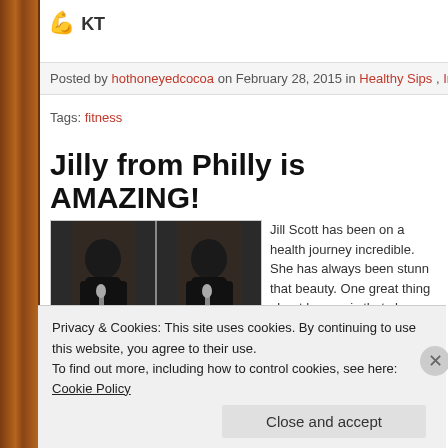💪 KT
Posted by hothoneyedcocoa on February 28, 2015 in Healthy Sips, Inspirational Sips
Tags: fitness
Jilly from Philly is AMAZING!
[Figure (photo): Two side-by-side photos of Jill Scott performing on stage in a dark outfit]
Jill Scott has been on a health journey incredible. She has always been stunn that beauty. One great thing about her me is that she knows that she will neve healthy lifestyle. Jill has a lot of curves
Privacy & Cookies: This site uses cookies. By continuing to use this website, you agree to their use.
To find out more, including how to control cookies, see here: Cookie Policy
Close and accept